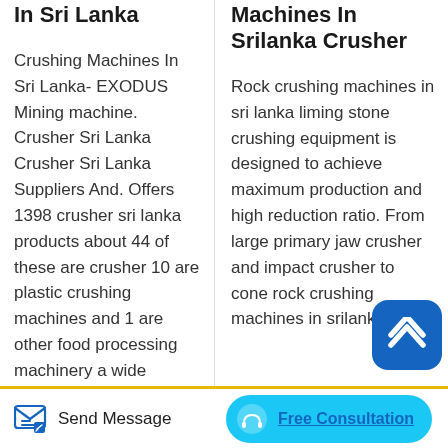In Sri Lanka
Crushing Machines In Sri Lanka- EXODUS Mining machine. Crusher Sri Lanka Crusher Sri Lanka Suppliers And. Offers 1398 crusher sri lanka products about 44 of these are crusher 10 are plastic crushing machines and 1 are other food processing machinery a wide
Machines In Srilanka Crusher
Rock crushing machines in sri lanka liming stone crushing equipment is designed to achieve maximum production and high reduction ratio. From large primary jaw crusher and impact crusher to cone rock crushing machines in srilanka
[Figure (other): Blue rounded square scroll-up button with upward chevron icon]
Send Message   Free Consultation